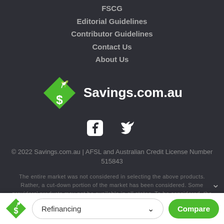FSCG
Editorial Guidelines
Contributor Guidelines
Contact Us
About Us
[Figure (logo): Savings.com.au logo: green diamond shape with white S and leaf icon, beside bold white text 'Savings.com.au']
[Figure (illustration): Social media icons: Facebook and Twitter in white]
© 2022 Savings.com.au | AFSL and Australian Credit License Number 515843
The entire market was not considered in selecting the above products. Rather, a cut-down portion of the market has been considered. Some providers' products may not be available in all states. To be considered, the
Refinancing  Compare